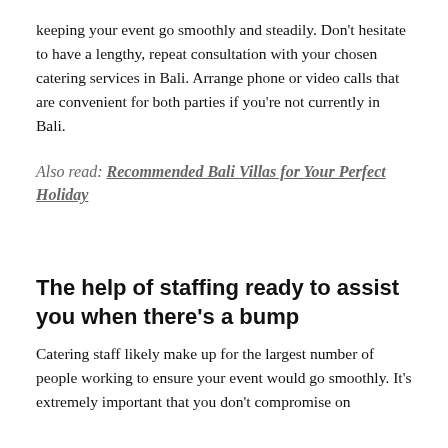keeping your event go smoothly and steadily. Don't hesitate to have a lengthy, repeat consultation with your chosen catering services in Bali. Arrange phone or video calls that are convenient for both parties if you're not currently in Bali.
Also read: Recommended Bali Villas for Your Perfect Holiday
The help of staffing ready to assist you when there's a bump
Catering staff likely make up for the largest number of people working to ensure your event would go smoothly. It's extremely important that you don't compromise on